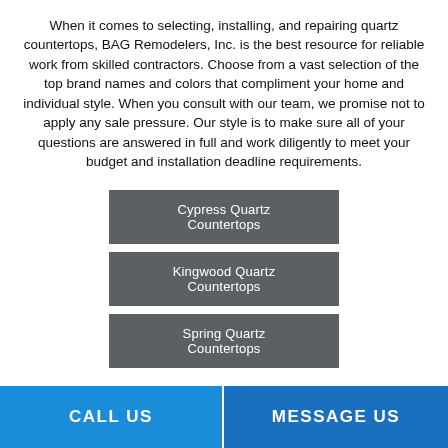When it comes to selecting, installing, and repairing quartz countertops, BAG Remodelers, Inc. is the best resource for reliable work from skilled contractors. Choose from a vast selection of the top brand names and colors that compliment your home and individual style. When you consult with our team, we promise not to apply any sale pressure. Our style is to make sure all of your questions are answered in full and work diligently to meet your budget and installation deadline requirements.
Cypress Quartz Countertops
Kingwood Quartz Countertops
Spring Quartz Countertops
CALL US   MESSAGE US